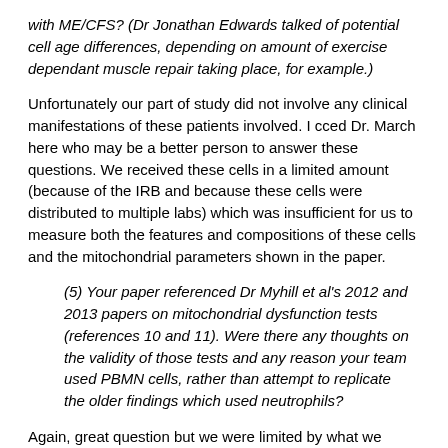with ME/CFS? (Dr Jonathan Edwards talked of potential cell age differences, depending on amount of exercise dependant muscle repair taking place, for example.)
Unfortunately our part of study did not involve any clinical manifestations of these patients involved. I cced Dr. March here who may be a better person to answer these questions. We received these cells in a limited amount (because of the IRB and because these cells were distributed to multiple labs) which was insufficient for us to measure both the features and compositions of these cells and the mitochondrial parameters shown in the paper.
(5) Your paper referenced Dr Myhill et al's 2012 and 2013 papers on mitochondrial dysfunction tests (references 10 and 11). Were there any thoughts on the validity of those tests and any reason your team used PBMN cells, rather than attempt to replicate the older findings which used neutrophils?
Again, great question but we were limited by what we could